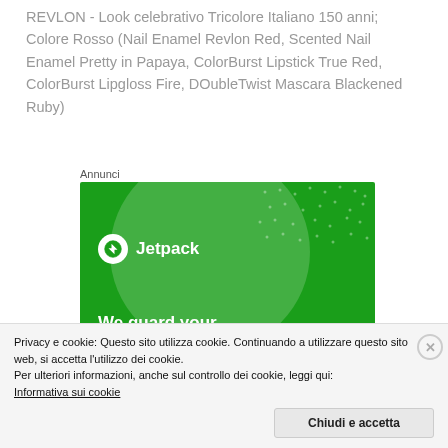REVLON - Look celebrativo Tricolore Italiano 150 anni; Colore Rosso (Nail Enamel Revlon Red, Scented Nail Enamel Pretty in Papaya, ColorBurst Lipstick True Red, ColorBurst Lipgloss Fire, DOubleTwist Mascara Blackened Ruby)
Annunci
[Figure (screenshot): Jetpack advertisement banner on green background with logo and text 'We guard your']
Privacy e cookie: Questo sito utilizza cookie. Continuando a utilizzare questo sito web, si accetta l'utilizzo dei cookie.
Per ulteriori informazioni, anche sul controllo dei cookie, leggi qui:
Informativa sui cookie
Chiudi e accetta